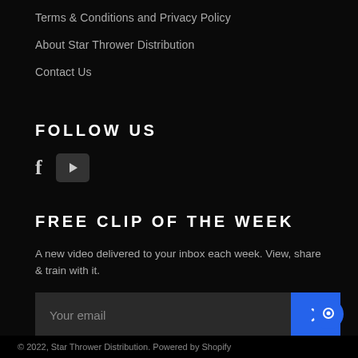Terms & Conditions and Privacy Policy
About Star Thrower Distribution
Contact Us
FOLLOW US
[Figure (illustration): Facebook icon (f) and YouTube play button icon on dark background]
FREE CLIP OF THE WEEK
A new video delivered to your inbox each week. View, share & train with it.
[Figure (other): Email subscription input field with placeholder 'Your email' and blue submit button with chevron right arrow]
[Figure (other): Blue circular chat bubble button in bottom right corner]
© 2022, Star Thrower Distribution. Powered by Shopify